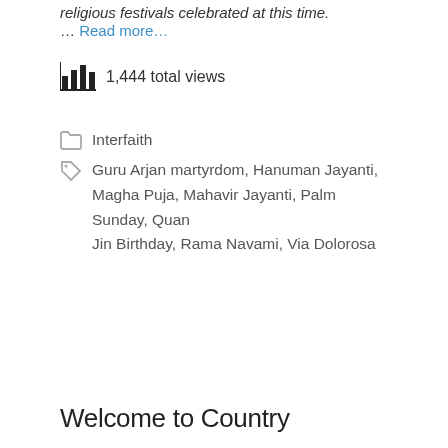religious festivals celebrated at this time. … Read more…
1,444 total views
Interfaith
Guru Arjan martyrdom, Hanuman Jayanti, Magha Puja, Mahavir Jayanti, Palm Sunday, Quan Jin Birthday, Rama Navami, Via Dolorosa
Welcome to Country